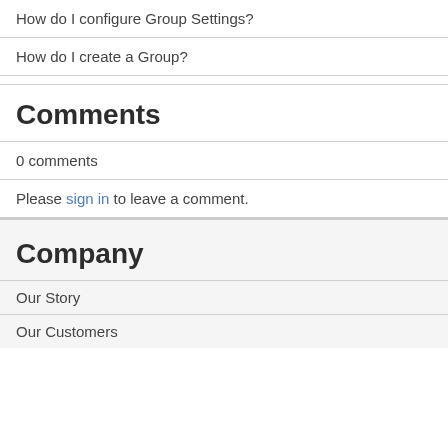How do I configure Group Settings?
How do I create a Group?
Comments
0 comments
Please sign in to leave a comment.
Company
Our Story
Our Customers